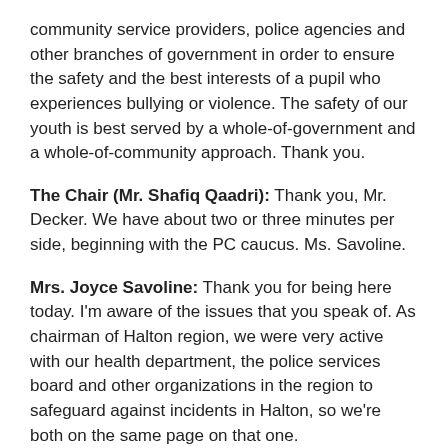community service providers, police agencies and other branches of government in order to ensure the safety and the best interests of a pupil who experiences bullying or violence. The safety of our youth is best served by a whole-of-government and a whole-of-community approach. Thank you.
The Chair (Mr. Shafiq Qaadri): Thank you, Mr. Decker. We have about two or three minutes per side, beginning with the PC caucus. Ms. Savoline.
Mrs. Joyce Savoline: Thank you for being here today. I'm aware of the issues that you speak of. As chairman of Halton region, we were very active with our health department, the police services board and other organizations in the region to safeguard against incidents in Halton, so we're both on the same page on that one.
However, I think we're having a difference of opinion on what exactly is mandatory intervention. What do you mean